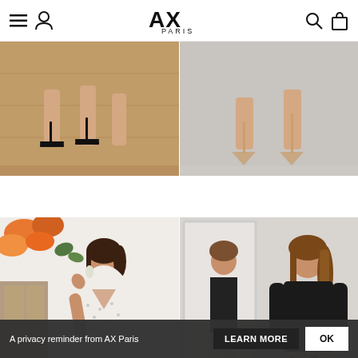AX PARIS — navigation header with menu, account, search, bag icons
[Figure (photo): Product photo: close-up of feet wearing black strappy heeled sandals on wooden floor — Multi Animal Print V Neck Split dress product listing]
Multi Animal Print V Neck Split ...
$84.00
[Figure (photo): Product photo: close-up of feet wearing nude pointed-toe heels on grey background — Plum Printed Pleated Sleeve Mi... product listing]
Plum Printed Pleated Sleeve Mi...
$47.00  $102.00
[Figure (photo): Fashion photo: woman wearing white floral/animal print wrap dress with deep V neck, posing outdoors against white brick wall with orange flowers]
[Figure (photo): Fashion photo: woman wearing black long-sleeve top with white leopard print skirt, standing in front of a mirror]
A privacy reminder from AX Paris   LEARN MORE   OK